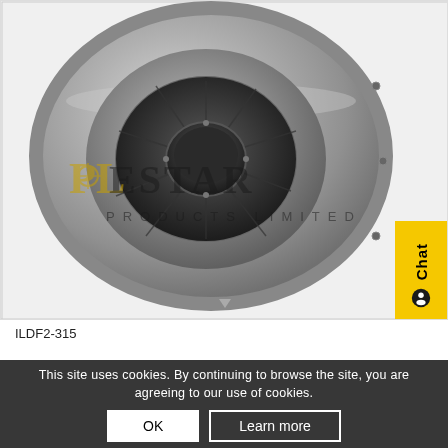[Figure (photo): A centrifugal inline duct fan with galvanized steel housing, circular shape, viewed from the front showing the intake and motor assembly. Polestar Products Limited watermark overlaid on the image.]
ILDF2-315
This site uses cookies. By continuing to browse the site, you are agreeing to our use of cookies.